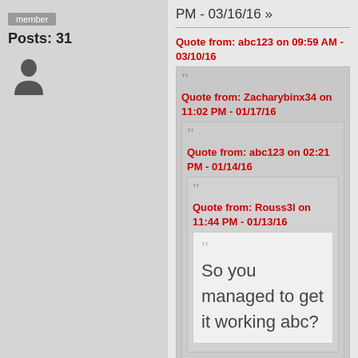member
Posts: 31
[Figure (illustration): User avatar silhouette icon]
PM - 03/16/16 »
Quote from: abc123 on 09:59 AM - 03/10/16
Quote from: Zacharybinx34 on 11:02 PM - 01/17/16
Quote from: abc123 on 02:21 PM - 01/14/16
Quote from: Rouss3l on 11:44 PM - 01/13/16
So you managed to get it working abc?
yeah, mine